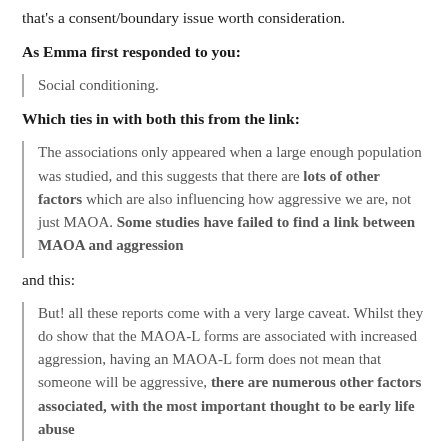that's a consent/boundary issue worth consideration.
As Emma first responded to you:
Social conditioning.
Which ties in with both this from the link:
The associations only appeared when a large enough population was studied, and this suggests that there are lots of other factors which are also influencing how aggressive we are, not just MAOA. Some studies have failed to find a link between MAOA and aggression
and this:
But! all these reports come with a very large caveat. Whilst they do show that the MAOA-L forms are associated with increased aggression, having an MAOA-L form does not mean that someone will be aggressive, there are numerous other factors associated, with the most important thought to be early life abuse
For me what confirms the validity of Emma's